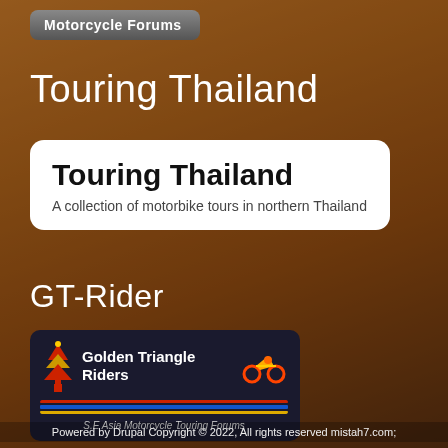[Figure (logo): Motorcycle Forums badge/button with grey rounded rectangle background]
Touring Thailand
[Figure (infographic): White rounded card with title 'Touring Thailand' and subtitle 'A collection of motorbike tours in northern Thailand']
GT-Rider
[Figure (logo): Golden Triangle Riders logo badge: dark background with pagoda icon, colorful stripes (red, blue, yellow), motorcycle icon, text 'Golden Triangle Riders' and 'S.E Asia Motorcycle Touring Forums']
Powered by Drupal Copyright © 2022, All rights reserved mistah7.com;